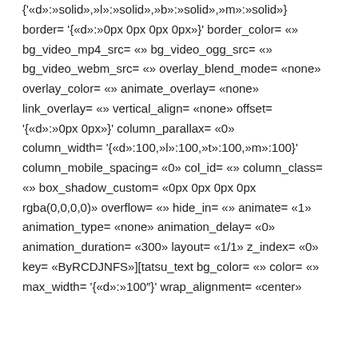{'«d»:»solid»,»l»:»solid»,»b»:»solid»,»m»:»solid»} border= '{«d»:»0px 0px 0px 0px»}' border_color= «» bg_video_mp4_src= «» bg_video_ogg_src= «» bg_video_webm_src= «» overlay_blend_mode= «none» overlay_color= «» animate_overlay= «none» link_overlay= «» vertical_align= «none» offset= '{«d»:»0px 0px»}' column_parallax= «0» column_width= '{«d»:100,»l»:100,»t»:100,»m»:100}' column_mobile_spacing= «0» col_id= «» column_class= «» box_shadow_custom= «0px 0px 0px 0px rgba(0,0,0,0)» overflow= «» hide_in= «» animate= «1» animation_type= «none» animation_delay= «0» animation_duration= «300» layout= «1/1» z_index= «0» key= «ByRCDJNFS»][tatsu_text bg_color= «» color= «» max_width= '{«d»:»100″}' wrap_alignment= «center» '{«d»:»left»,»m»:»center»,»t»:»center»}' margin= '{«d»:»0px 0px 30px 0px»}' box_shadow= «0px 0px
[Figure (screenshot): WhatsApp chat widget: green circular WhatsApp icon on the left, and a chat bubble saying '¿Necesitas ayuda? Chatea con nosotros!']